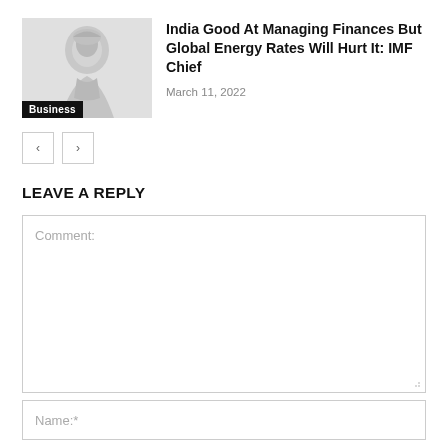[Figure (photo): Grayscale photo of a person, with a 'Business' badge overlay at the bottom left]
India Good At Managing Finances But Global Energy Rates Will Hurt It: IMF Chief
March 11, 2022
LEAVE A REPLY
Comment:
Name:*